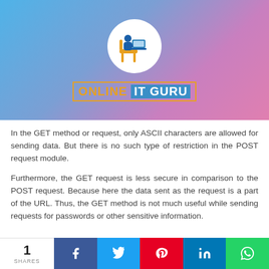[Figure (logo): Online IT Guru logo — circular white icon with a person sitting at a laptop, blue and gold colors, on a blue-to-pink gradient background with the text ONLINE IT GURU]
In the GET method or request, only ASCII characters are allowed for sending data. But there is no such type of restriction in the POST request module.
Furthermore, the GET request is less secure in comparison to the POST request. Because here the data sent as the request is a part of the URL. Thus, the GET method is not much useful while sending requests for passwords or other sensitive information.
1 SHARES — social share bar: Facebook, Twitter, Pinterest, LinkedIn, WhatsApp